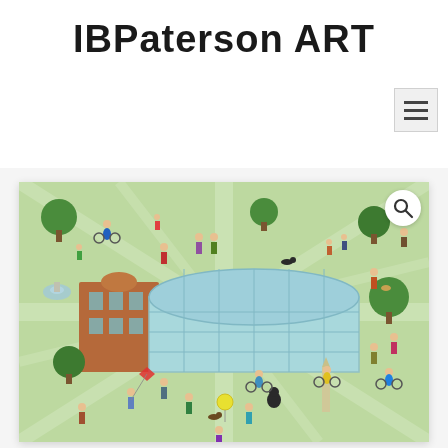IBPaterson ART
[Figure (illustration): A colourful illustrated map-style artwork showing a large Victorian greenhouse/glasshouse building (resembling the Kibble Palace or similar) surrounded by a green park with many small illustrated people walking, cycling, flying kites, with dogs, near a fountain and an obelisk monument, trees scattered throughout. The illustration has a flat, whimsical style with a light green background representing grass and paths.]